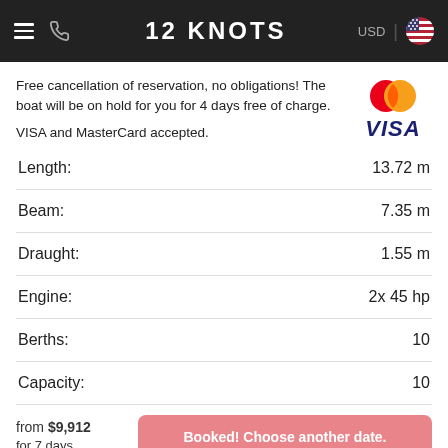12 KNOTS — USD
Free cancellation of reservation, no obligations! The boat will be on hold for you for 4 days free of charge.
VISA and MasterCard accepted.
| Spec | Value |
| --- | --- |
| Length: | 13.72 m |
| Beam: | 7.35 m |
| Draught: | 1.55 m |
| Engine: | 2x 45 hp |
| Berths: | 10 |
| Capacity: | 10 |
from $9,912
for 7 days
Booked! Choose another date.
Bathroom.